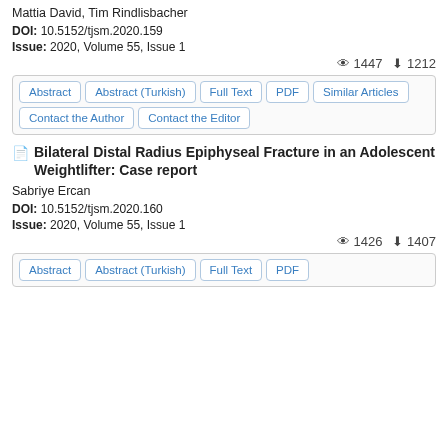Mattia David, Tim Rindlisbacher
DOI: 10.5152/tjsm.2020.159
Issue: 2020, Volume 55, Issue 1
👁 1447  ⬇ 1212
Abstract | Abstract (Turkish) | Full Text | PDF | Similar Articles | Contact the Author | Contact the Editor
Bilateral Distal Radius Epiphyseal Fracture in an Adolescent Weightlifter: Case report
Sabriye Ercan
DOI: 10.5152/tjsm.2020.160
Issue: 2020, Volume 55, Issue 1
👁 1426  ⬇ 1407
Abstract | Abstract (Turkish) | Full Text | PDF